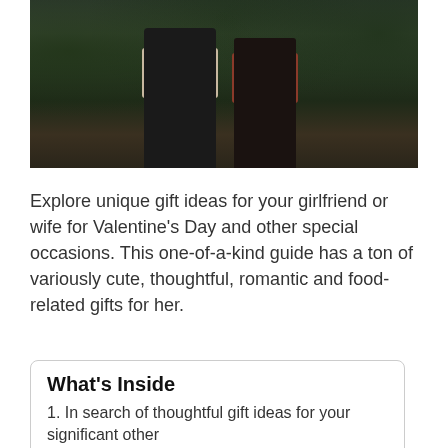[Figure (photo): A couple standing together outdoors in front of green foliage. The person on the left wears a plaid shirt and dark jeans. The person on the right wears a plaid shirt, dark jeans, and brown boots. They appear to be holding hands.]
Explore unique gift ideas for your girlfriend or wife for Valentine's Day and other special occasions. This one-of-a-kind guide has a ton of variously cute, thoughtful, romantic and food-related gifts for her.
What's Inside
1. In search of thoughtful gift ideas for your significant other